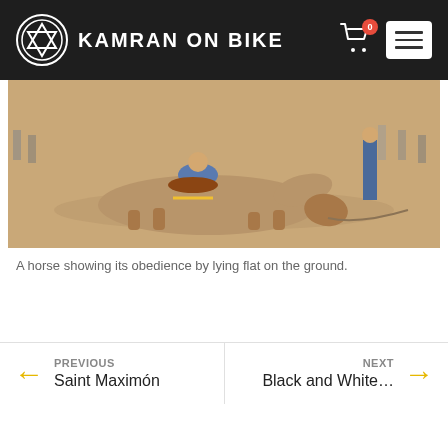KAMRAN ON BIKE
[Figure (photo): A camel lying flat on the ground with a rider on its back, at what appears to be a sandy outdoor venue with onlookers in the background.]
A horse showing its obedience by lying flat on the ground.
PREVIOUS Saint Maximón
NEXT Black and White…